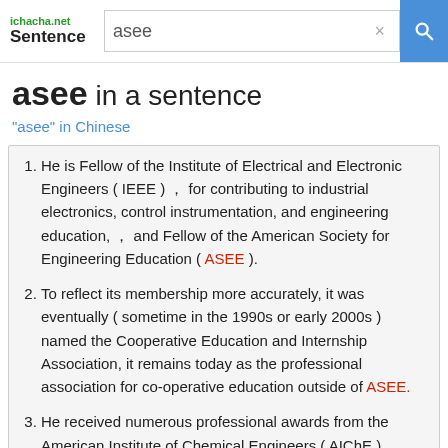ichacha.net Sentence | asee [search box]
asee in a sentence
"asee" in Chinese
He is Fellow of the Institute of Electrical and Electronic Engineers ( IEEE ) ， for contributing to industrial electronics, control instrumentation, and engineering education, ， and Fellow of the American Society for Engineering Education ( ASEE ).
To reflect its membership more accurately, it was eventually ( sometime in the 1990s or early 2000s ) named the Cooperative Education and Internship Association, it remains today as the professional association for co-operative education outside of ASEE.
He received numerous professional awards from the American Institute of Chemical Engineers ( AIChE ), American Chemical Society ( ACS ), International Symposium on Chemical Reaction Engineering ( ISCRE ), and American Society for Engineering